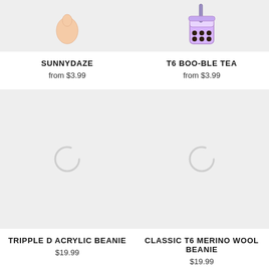[Figure (illustration): Product image placeholder showing partial sticker art (top cropped) for SUNNYDAZE product on light gray background]
[Figure (illustration): Product image showing bubble tea sticker illustration (T6 BOO-BLE TEA) with purple/blue colors on light gray background]
SUNNYDAZE
from $3.99
T6 BOO-BLE TEA
from $3.99
[Figure (illustration): Product image loading placeholder with spinner arc icon on light gray background for TRIPPLE D ACRYLIC BEANIE]
[Figure (illustration): Product image loading placeholder with spinner arc icon on light gray background for CLASSIC T6 MERINO WOOL BEANIE]
TRIPPLE D ACRYLIC BEANIE
$19.99
CLASSIC T6 MERINO WOOL BEANIE
$19.99